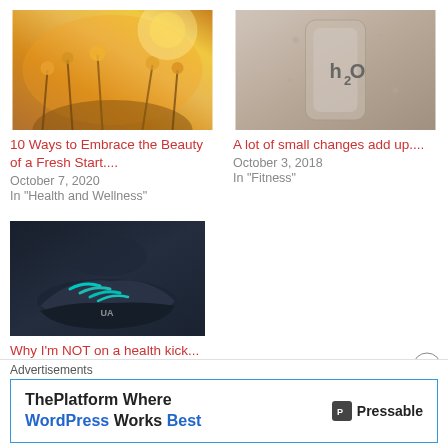[Figure (photo): Sunlit nature field with wildflowers and warm golden light]
[Figure (photo): Close-up of a water bottle with h2O branding, droplets on surface]
10 Ways to Embrace the Beauty of a Fresh Start....
October 7, 2020
In "Health and Wellness"
A lot of small changes add up....
October 3, 2018
In "Fitness"
[Figure (photo): Close-up of a person tying athletic shoes with teal/turquoise laces, Under Armour brand]
Why I'm NOT on a health kick...
July 11, 2018
In "Fitness"
Advertisements
[Figure (other): Pressable advertisement banner: ThePlatform Where WordPress Works Best]